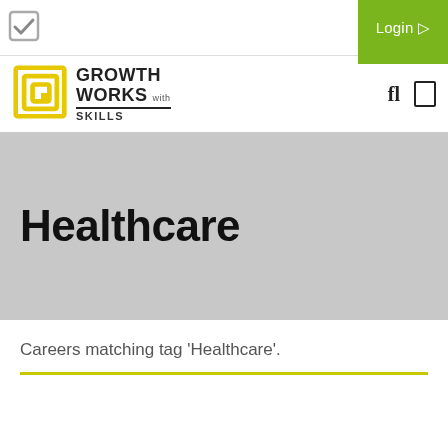Login
[Figure (logo): Growth Works with Skills logo — yellow geometric nested squares icon with bold text 'GROWTH WORKS with SKILLS']
Healthcare
Careers matching tag 'Healthcare'.